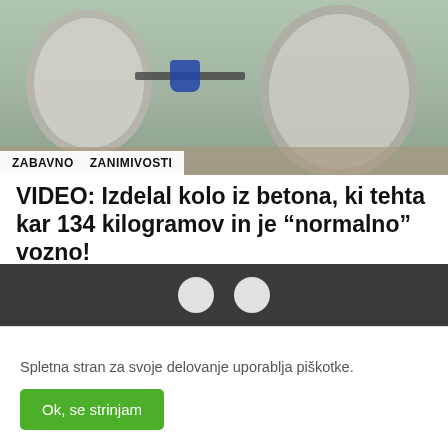[Figure (photo): Photo of a large concrete bicycle with stone/concrete wheels, a person standing behind it on a stone surface. Tags 'ZABAVNO' and 'ZANIMIVOSTI' overlaid at the bottom of the image.]
VIDEO: Izdelal kolo iz betona, ki tehta kar 134 kilogramov in je „normalno“ vozno!
30 avgusta, 2022, 1:42 pop
POGLEJ VEČ
Spletna stran za svoje delovanje uporablja piškotke.
Ok, se strinjam